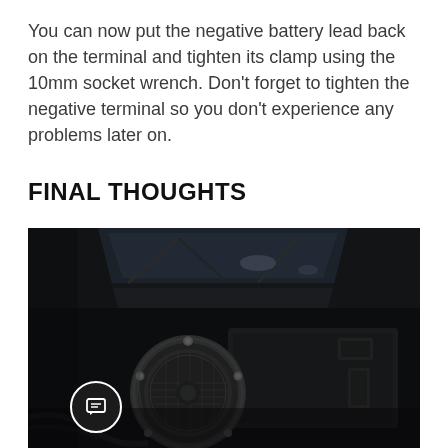You can now put the negative battery lead back on the terminal and tighten its clamp using the 10mm socket wrench. Don't forget to tighten the negative terminal so you don't experience any problems later on.
FINAL THOUGHTS
[Figure (photo): Dark close-up photo of a car engine bay showing a round component (possibly a speaker or filter housing) with a metal mesh face, bolts, and surrounding dark plastic/carbon components. Background shows windshield wipers and hood structure.]